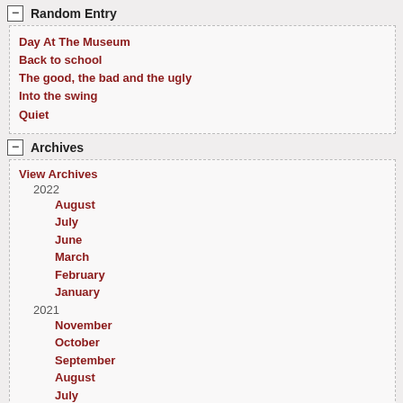Random Entry
Day At The Museum
Back to school
The good, the bad and the ugly
Into the swing
Quiet
Archives
View Archives
2022
August
July
June
March
February
January
2021
November
October
September
August
July
June
May
April
March
January
2020
December
November
September
August
July